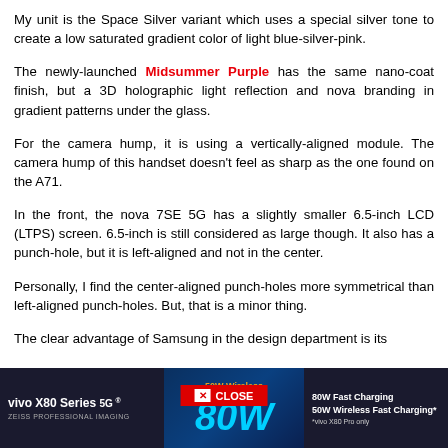My unit is the Space Silver variant which uses a special silver tone to create a low saturated gradient color of light blue-silver-pink.
The newly-launched Midsummer Purple has the same nano-coat finish, but a 3D holographic light reflection and nova branding in gradient patterns under the glass.
For the camera hump, it is using a vertically-aligned module. The camera hump of this handset doesn't feel as sharp as the one found on the A71.
In the front, the nova 7SE 5G has a slightly smaller 6.5-inch LCD (LTPS) screen. 6.5-inch is still considered as large though. It also has a punch-hole, but it is left-aligned and not in the center.
Personally, I find the center-aligned punch-holes more symmetrical than left-aligned punch-holes. But, that is a minor thing.
The clear advantage of Samsung in the design department is its
[Figure (advertisement): Vivo X80 Series 5G advertisement banner with 80W Fast Charging and 50W Wireless Fast Charging, ZEISS Professional Imaging branding, dark blue background]